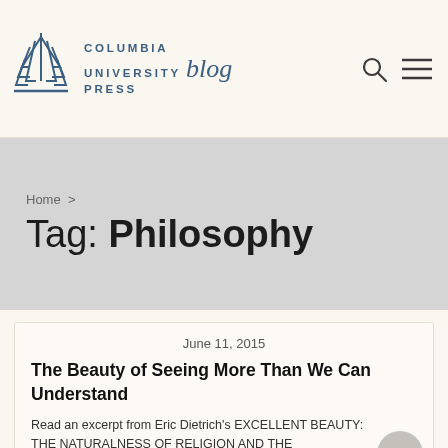COLUMBIA UNIVERSITY PRESS blog
Tag: Philosophy
Home >
June 11, 2015
The Beauty of Seeing More Than We Can Understand
Read an excerpt from Eric Dietrich's EXCELLENT BEAUTY: THE NATURALNESS OF RELIGION AND THE UNNATURALNESS OF THE WORLD.